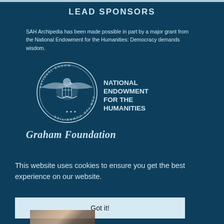LEAD SPONSORS
SAH Archipedia has been made possible in part by a major grant from the National Endowment for the Humanities: Democracy demands wisdom.
[Figure (logo): National Endowment for the Humanities seal/logo with eagle and text NATIONAL ENDOWMENT FOR THE HUMANITIES]
Graham Foundation
This website uses cookies to ensure you get the best experience on our website.
Got it!
[Figure (photo): Partial photo strip at bottom, partially cut off]